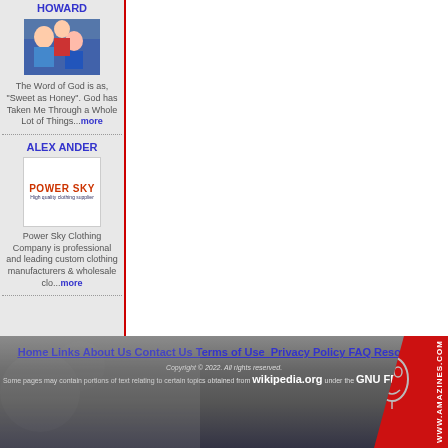HOWARD
[Figure (photo): Photo of people outdoors, appears to be a group scene with blue tones]
The Word of God is as, "Sweet as Honey". God has Taken Me Through a Whole Lot of Things...more
ALEX ANDER
[Figure (logo): Power Sky Clothing Company logo - red bold text saying POWER SKY with blue subtitle High quality clothing supplier]
Power Sky Clothing Company is professional and leading custom clothing manufacturers & wholesale clo...more
Home Links About Us Contact Us Terms of Use Privacy Policy FAQ Resources Copyright © 2022. All rights reserved. Some pages may contain portions of text relating to certain topics obtained from wikipedia.org under the GNU FDL license